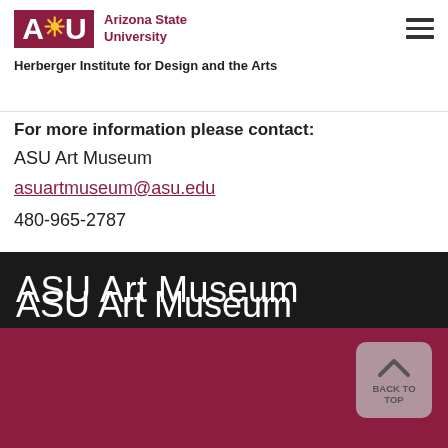ASU Arizona State University
Herberger Institute for Design and the Arts
For more information please contact:
ASU Art Museum
asuartmuseum@asu.edu
480-965-2787
ASU Art Museum
[Figure (screenshot): Back to top button with upward chevron arrow and label BACK TO TOP on dark maroon footer background]